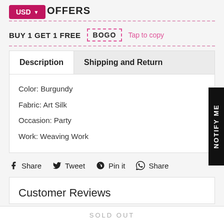USD  OFFERS
BUY 1 GET 1 FREE   BOGO   Tap to copy
| Description | Shipping and Return |
| --- | --- |
| Color: Burgundy |  |
| Fabric: Art Silk |  |
| Occasion: Party |  |
| Work: Weaving Work |  |
Share  Tweet  Pin it  Share
Customer Reviews
SOLD OUT